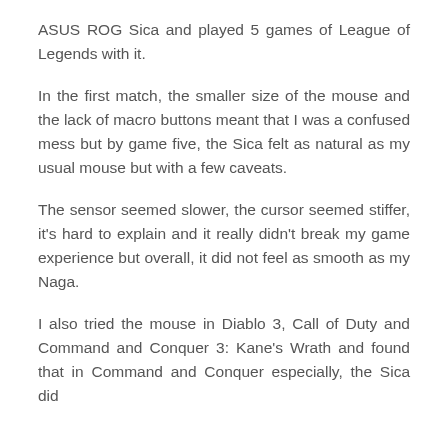ASUS ROG Sica and played 5 games of League of Legends with it.
In the first match, the smaller size of the mouse and the lack of macro buttons meant that I was a confused mess but by game five, the Sica felt as natural as my usual mouse but with a few caveats.
The sensor seemed slower, the cursor seemed stiffer, it's hard to explain and it really didn't break my game experience but overall, it did not feel as smooth as my Naga.
I also tried the mouse in Diablo 3, Call of Duty and Command and Conquer 3: Kane's Wrath and found that in Command and Conquer especially, the Sica did